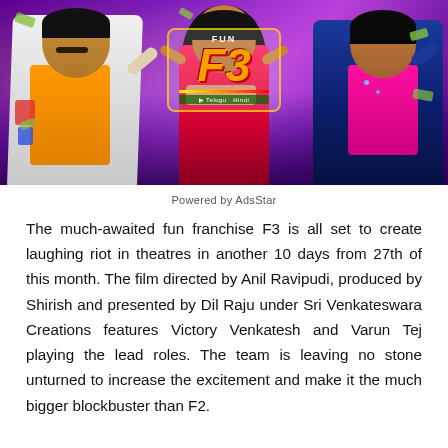[Figure (photo): Movie promotional poster for F3 (Fun and Frustration) featuring three lead actors: a man in a colorful white jacket with orange shirt on the left, a woman in a red outfit in the center, and a man in a blue sequined jacket with pink shirt on the right. The F3 logo is displayed in the center of the image with a purple/crowd background.]
Powered by AdsStar
The much-awaited fun franchise F3 is all set to create laughing riot in theatres in another 10 days from 27th of this month. The film directed by Anil Ravipudi, produced by Shirish and presented by Dil Raju under Sri Venkateswara Creations features Victory Venkatesh and Varun Tej playing the lead roles. The team is leaving no stone unturned to increase the excitement and make it the much bigger blockbuster than F2.